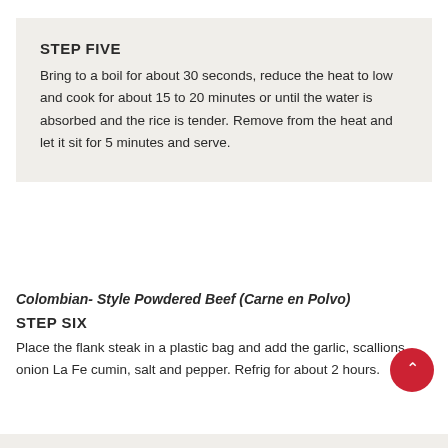STEP FIVE
Bring to a boil for about 30 seconds, reduce the heat to low and cook for about 15 to 20 minutes or until the water is absorbed and the rice is tender. Remove from the heat and let it sit for 5 minutes and serve.
Colombian- Style Powdered Beef (Carne en Polvo)
STEP SIX
Place the flank steak in a plastic bag and add the garlic, scallions, onion La Fe cumin, salt and pepper. Refrig for about 2 hours.